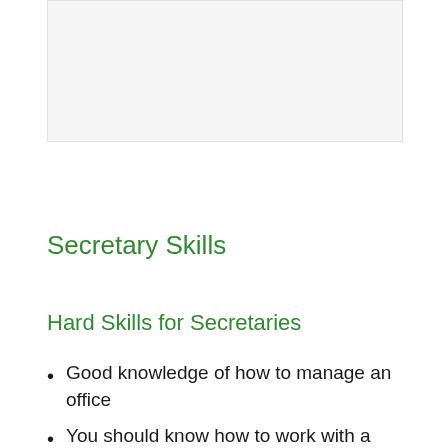[Figure (other): Light gray rectangular placeholder image area at the top of the page]
Secretary Skills
Hard Skills for Secretaries
Good knowledge of how to manage an office
You should know how to work with a